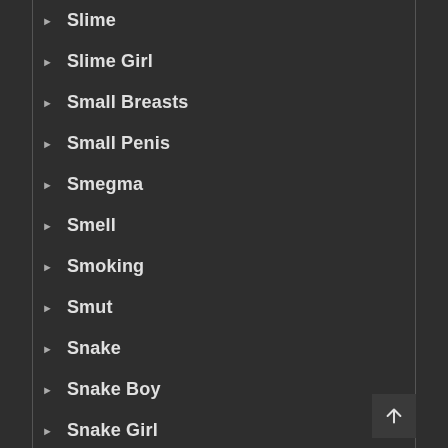Slime
Slime Girl
Small Breasts
Small Penis
Smegma
Smell
Smoking
Smut
Snake
Snake Boy
Snake Girl
Snuff
Soft Yaoi